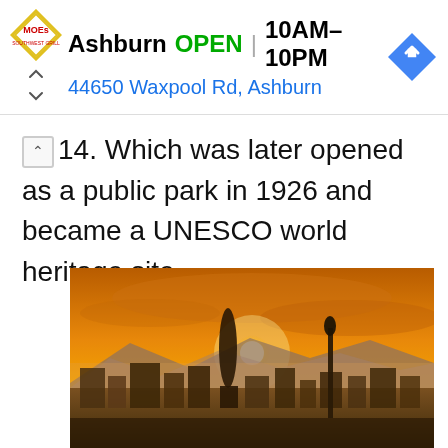[Figure (infographic): Moe's Southwest Grill advertisement banner showing store location: Ashburn, OPEN, 10AM-10PM, 44650 Waxpool Rd, Ashburn, with Moe's logo and navigation arrow icon]
14. Which was later opened as a public park in 1926 and became a UNESCO world heritage site.
[Figure (photo): Aerial cityscape of Barcelona at sunset with golden orange sky, the Torre Agbar tower visible, mountains in background, and Columbus Monument statue in foreground]